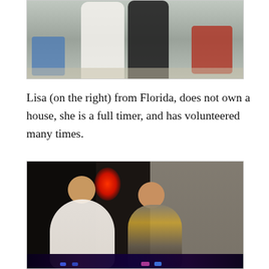[Figure (photo): Cropped photo of two people standing outdoors near folding chairs, one in white shirt (left) and one in black top (right), with a blue chair visible on the left and a red chair/bag on the right.]
Lisa (on the right) from Florida, does not own a house, she is a full timer, and has volunteered many times.
[Figure (photo): Photo of two people sitting outside an RV at night, both wearing novelty antennae headbands. A woman in a white top sits on the left and a man in a yellow and gray shirt sits on the right. A red glowing light decoration hangs in the background near the RV door. Blue LED lights are visible on the ground.]